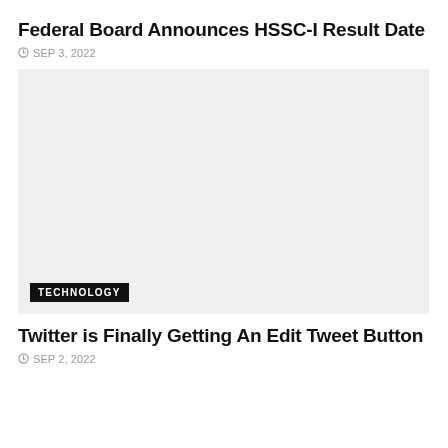Federal Board Announces HSSC-I Result Date
SEP 3, 2022
[Figure (photo): Light gray placeholder image with a TECHNOLOGY badge in the bottom left corner]
Twitter is Finally Getting An Edit Tweet Button
SEP 2, 2022